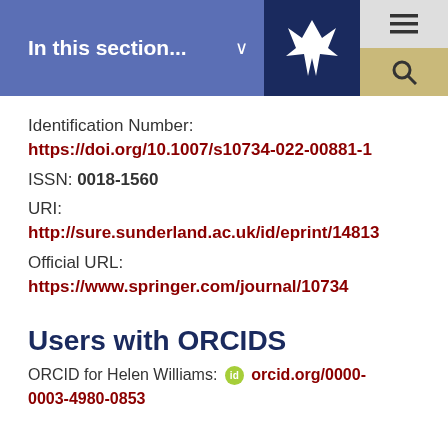In this section...
Identification Number:
https://doi.org/10.1007/s10734-022-00881-1
ISSN: 0018-1560
URI:
http://sure.sunderland.ac.uk/id/eprint/14813
Official URL:
https://www.springer.com/journal/10734
Users with ORCIDS
ORCID for Helen Williams: orcid.org/0000-0003-4980-0853